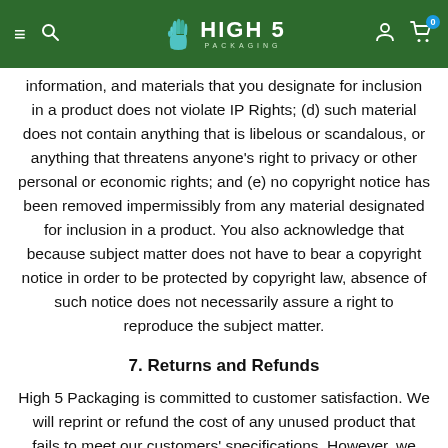HIGH 5 PACKAGING
information, and materials that you designate for inclusion in a product does not violate IP Rights; (d) such material does not contain anything that is libelous or scandalous, or anything that threatens anyone's right to privacy or other personal or economic rights; and (e) no copyright notice has been removed impermissibly from any material designated for inclusion in a product. You also acknowledge that because subject matter does not have to bear a copyright notice in order to be protected by copyright law, absence of such notice does not necessarily assure a right to reproduce the subject matter.
7. Returns and Refunds
High 5 Packaging is committed to customer satisfaction. We will reprint or refund the cost of any unused product that fails to meet our customers' specifications. However, we cannot take responsibility for typing, image, or design errors introduced by customers in the document creation process.